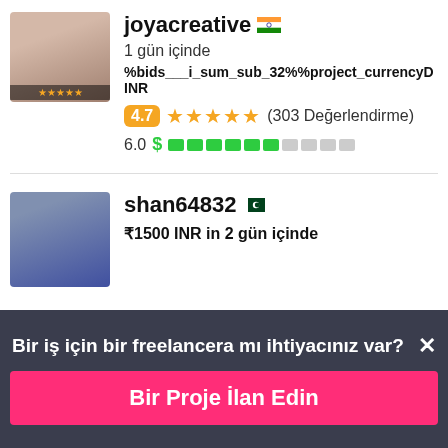joyacreative 🇮🇳
1 gün içinde
%bids___i_sum_sub_32%%project_currencyD INR
4.7 ★★★★★ (303 Değerlendirme)
6.0 $ ████████░░
shan64832 🇵🇰
₹1500 INR in 2 gün içinde
Bir iş için bir freelancera mı ihtiyacınız var?
Bir Proje İlan Edin